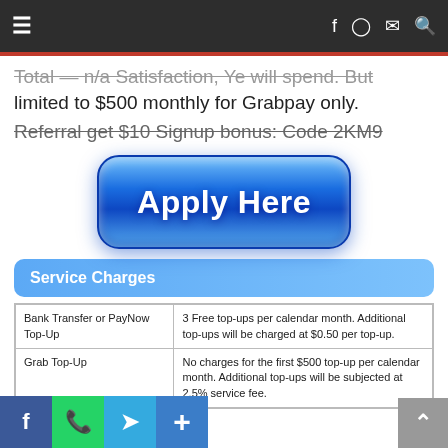Navigation bar with hamburger menu and social/search icons
Total — n/a Satislaction, Ye will spend. But limited to $500 monthly for Grabpay only.
Referral get $10 Signup bonus: Code 2KM9
[Figure (other): Blue glossy 'Apply Here' button]
Service Charges
| Service | Details |
| --- | --- |
| Bank Transfer or PayNow Top-Up | 3 Free top-ups per calendar month. Additional top-ups will be charged at $0.50 per top-up. |
| Grab Top-Up | No charges for the first $500 top-up per calendar month. Additional top-ups will be subjected at 2.5% service fee. |